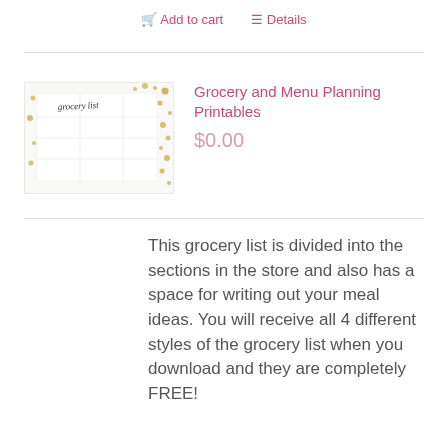Add to cart   Details
[Figure (photo): Photo of a grocery list printable with handwritten style text 'grocery list' on a white background with gold dots/confetti]
Grocery and Menu Planning Printables
$0.00
This grocery list is divided into the sections in the store and also has a space for writing out your meal ideas. You will receive all 4 different styles of the grocery list when you download and they are completely FREE!